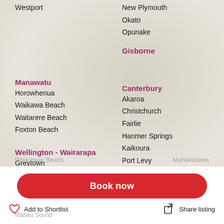Westport
New Plymouth
Okato
Opunake
Gisborne
Manawatu
Horowhenua
Waikawa Beach
Waitarere Beach
Foxton Beach
Canterbury
Akaroa
Christchurch
Fairlie
Hanmer Springs
Kaikoura
Port Levy
Timaru
Wellington - Wairarapa
Greytown
Kapiti Coast
Martinborough
Marlborough
Book now
Waikanae Beach
Add to Shortlist
Mahakipawa
Mahau Sound
Share listing